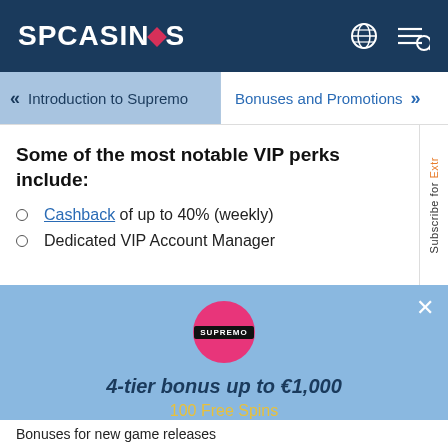SPCASINOS
Introduction to Supremo
Bonuses and Promotions
Some of the most notable VIP perks include:
Cashback of up to 40% (weekly)
Dedicated VIP Account Manager
[Figure (screenshot): Supremo casino popup with pink circle logo, text '4-tier bonus up to €1,000', '100 Free Spins' in yellow, red 'To The Casino' button, and close X button]
Bonuses for new game releases